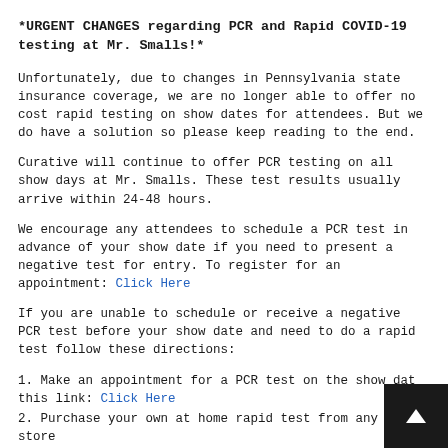*URGENT CHANGES regarding PCR and Rapid COVID-19 testing at Mr. Smalls!*
Unfortunately, due to changes in Pennsylvania state insurance coverage, we are no longer able to offer no cost rapid testing on show dates for attendees. But we do have a solution so please keep reading to the end.
Curative will continue to offer PCR testing on all show days at Mr. Smalls. These test results usually arrive within 24-48 hours.
We encourage any attendees to schedule a PCR test in advance of your show date if you need to present a negative test for entry. To register for an appointment: Click Here
If you are unable to schedule or receive a negative PCR test before your show date and need to do a rapid test follow these directions:
1. Make an appointment for a PCR test on the show date this link: Click Here
2. Purchase your own at home rapid test from any drug store